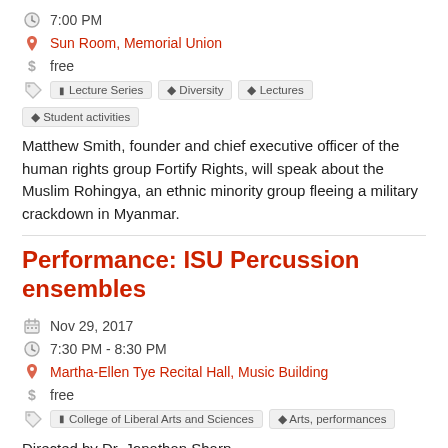7:00 PM
Sun Room, Memorial Union
free
Lecture Series | Diversity | Lectures | Student activities
Matthew Smith, founder and chief executive officer of the human rights group Fortify Rights, will speak about the Muslim Rohingya, an ethnic minority group fleeing a military crackdown in Myanmar.
Performance: ISU Percussion ensembles
Nov 29, 2017
7:30 PM - 8:30 PM
Martha-Ellen Tye Recital Hall, Music Building
free
College of Liberal Arts and Sciences | Arts, performances
Directed by Dr. Jonathan Sharp.